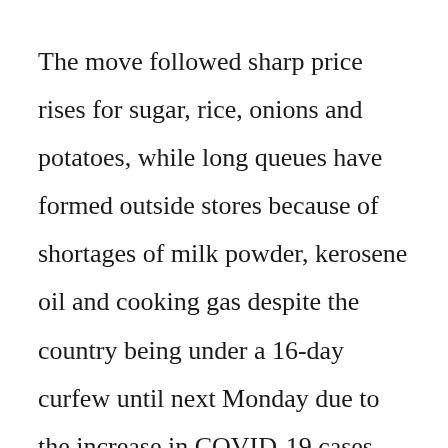The move followed sharp price rises for sugar, rice, onions and potatoes, while long queues have formed outside stores because of shortages of milk powder, kerosene oil and cooking gas despite the country being under a 16-day curfew until next Monday due to the increase in COVID-19 cases.
Trade Minister Bandula Gunawardena said some traders were hoarding stocks, resulting in shortages of food items and